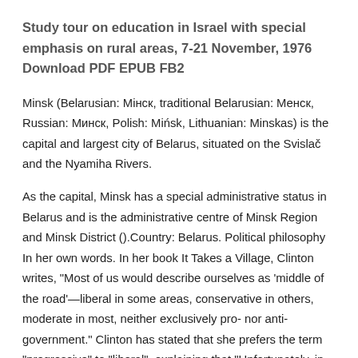Study tour on education in Israel with special emphasis on rural areas, 7-21 November, 1976 Download PDF EPUB FB2
Minsk (Belarusian: Мінск, traditional Belarusian: Менск, Russian: Минск, Polish: Mińsk, Lithuanian: Minskas) is the capital and largest city of Belarus, situated on the Svislač and the Nyamiha Rivers.
As the capital, Minsk has a special administrative status in Belarus and is the administrative centre of Minsk Region and Minsk District ().Country: Belarus. Political philosophy In her own words. In her book It Takes a Village, Clinton writes, "Most of us would describe ourselves as 'middle of the road'—liberal in some areas, conservative in others, moderate in most, neither exclusively pro- nor anti-government." Clinton has stated that she prefers the term "progressive" to "liberal", explaining that "Unfortunately, in the l 40 years.
Bristol (/ ˈ b r ɪ s t əl / ()) is a city and county in South West England with a population ofThe wider district has the 10th-largest population